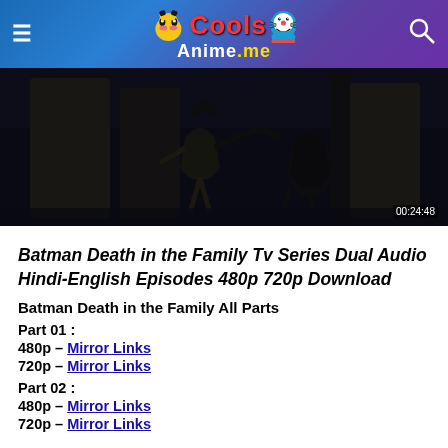CoolsAnime.me
[Figure (screenshot): Dark animated scene from Batman Death in the Family, showing a figure in a dark urban setting. Timestamp 00:24:48 visible in bottom right corner.]
Batman Death in the Family Tv Series Dual Audio Hindi-English Episodes 480p 720p Download
Batman Death in the Family All Parts
Part 01 :
480p – Mirror Links
720p – Mirror Links
Part 02 :
480p – Mirror Links
720p – Mirror Links